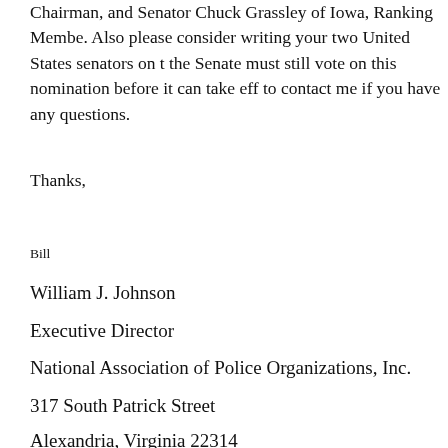Chairman, and Senator Chuck Grassley of Iowa, Ranking Member. Also please consider writing your two United States senators on the Senate must still vote on this nomination before it can take effect to contact me if you have any questions.
Thanks,
Bill
William J. Johnson
Executive Director
National Association of Police Organizations, Inc.
317 South Patrick Street
Alexandria, Virginia 22314